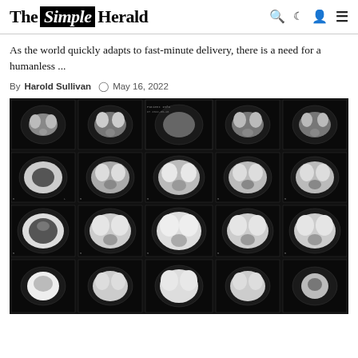The Simple Herald
As the world quickly adapts to fast-minute delivery, there is a need for a humanless ...
By Harold Sullivan  May 16, 2022
[Figure (photo): Grid of brain CT scan images showing multiple axial cross-sections of a human head, displayed in black and white on a light box or digital display, arranged in 4 rows and 5 columns.]